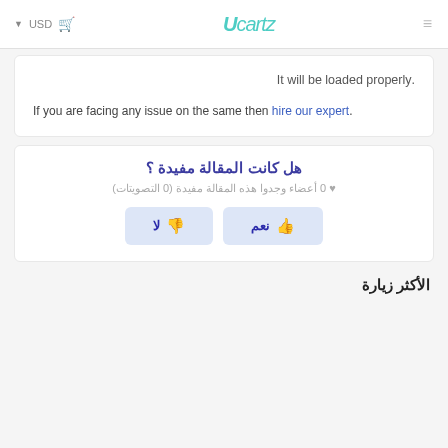USD  [cart icon]  Ucartz  [menu icon]
.It will be loaded properly
If you are facing any issue on the same then hire our expert.
هل كانت المقالة مفيدة ؟
♥ 0 أعضاء وجدوا هذه المقالة مفيدة (0 التصويتات)
نعم  لا
الأكثر زيارة